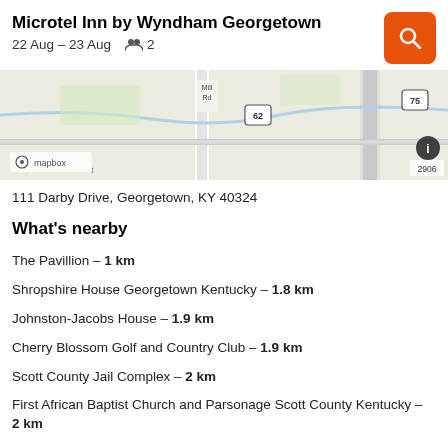Microtel Inn by Wyndham Georgetown
22 Aug – 23 Aug  2
[Figure (map): Map showing location near Mill Rd, route 62 and interstate 75, Georgetown KY area. Mapbox attribution visible.]
111 Darby Drive, Georgetown, KY 40324
What's nearby
The Pavillion – 1 km
Shropshire House Georgetown Kentucky – 1.8 km
Johnston-Jacobs House – 1.9 km
Cherry Blossom Golf and Country Club – 1.9 km
Scott County Jail Complex – 2 km
First African Baptist Church and Parsonage Scott County Kentucky – 2 km